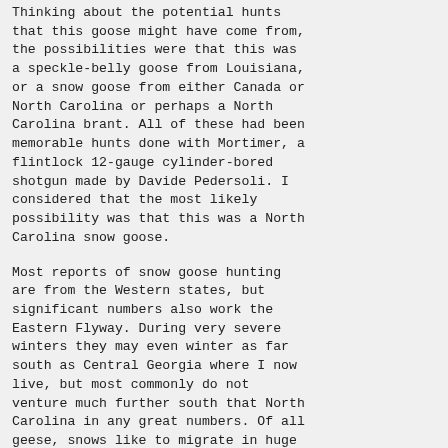Thinking about the potential hunts that this goose might have come from, the possibilities were that this was a speckle-belly goose from Louisiana, or a snow goose from either Canada or North Carolina or perhaps a North Carolina brant. All of these had been memorable hunts done with Mortimer, a flintlock 12-gauge cylinder-bored shotgun made by Davide Pedersoli. I considered that the most likely possibility was that this was a North Carolina snow goose.
Most reports of snow goose hunting are from the Western states, but significant numbers also work the Eastern Flyway. During very severe winters they may even winter as far south as Central Georgia where I now live, but most commonly do not venture much further south that North Carolina in any great numbers. Of all geese, snows like to migrate in huge flocks and attracting these birds often requires a trailer loads of decoys. The migration of these flocks